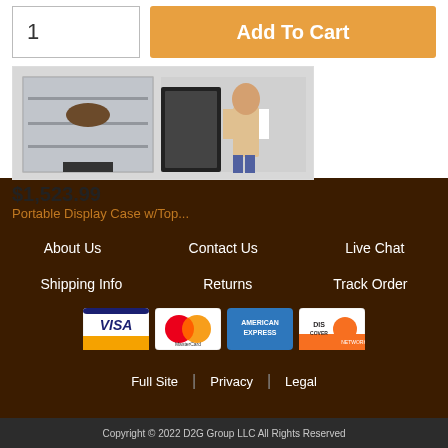[Figure (photo): Product photo of a portable display case with glass top, shown assembled and with a person standing next to it for scale]
$1,523.99
Portable Display Case w/Top...
About Us
Contact Us
Live Chat
Shipping Info
Returns
Track Order
[Figure (logo): Visa credit card logo]
[Figure (logo): Mastercard credit card logo]
[Figure (logo): American Express credit card logo]
[Figure (logo): Discover Network credit card logo]
Full Site
Privacy
Legal
Copyright © 2022 D2G Group LLC All Rights Reserved